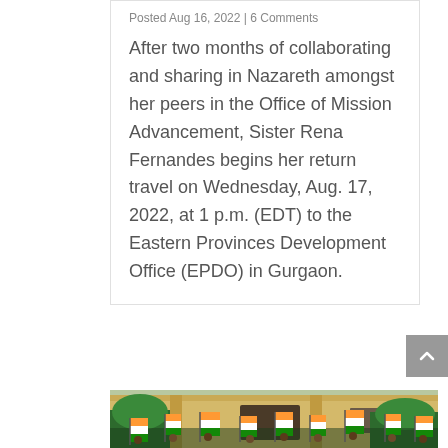Posted Aug 16, 2022 | 6 Comments
After two months of collaborating and sharing in Nazareth amongst her peers in the Office of Mission Advancement, Sister Rena Fernandes begins her return travel on Wednesday, Aug. 17, 2022, at 1 p.m. (EDT) to the Eastern Provinces Development Office (EPDO) in Gurgaon.
[Figure (photo): Crowd of people waving Indian tricolor flags in front of a yellow building]